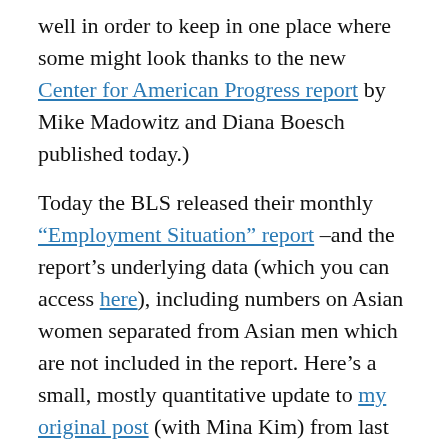well in order to keep in one place where some might look thanks to the new Center for American Progress report by Mike Madowitz and Diana Boesch published today.)
Today the BLS released their monthly "Employment Situation" report –and the report's underlying data (which you can access here), including numbers on Asian women separated from Asian men which are not included in the report. Here's a small, mostly quantitative update to my original post (with Mina Kim) from last month. First, the bottom-line/main-story bar chart: